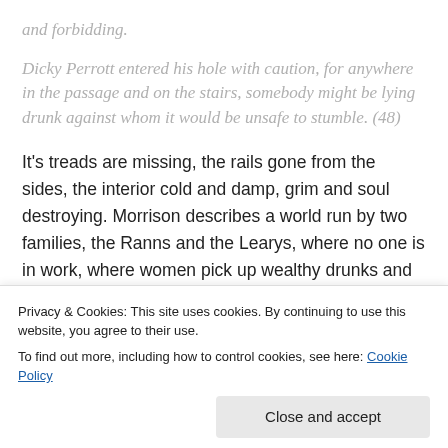and forbidding.
Dicky Perrott entered his hole with caution, for anywhere in the passage and on the stairs, somebody might be lying drunk against whom it would be unsafe to stumble. (48)
It’s treads are missing, the rails gone from the sides, the interior cold and damp, grim and soul destroying. Morrison describes a world run by two families, the Ranns and the Learys, where no one is in work, where women pick up wealthy drunks and bring them home to the ‘cosh’ from their husband. Everyone else lives on various levels of hustle. At the top — the
immense love of cake. I remember a time when I too wanted
Privacy & Cookies: This site uses cookies. By continuing to use this website, you agree to their use.
To find out more, including how to control cookies, see here: Cookie Policy
Close and accept